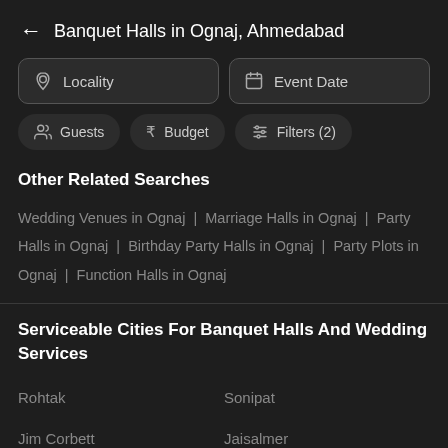← Banquet Halls in Ognaj, Ahmedabad
Locality
Event Date
Guests
Budget
Filters (2)
Other Related Searches
Wedding Venues in Ognaj | Marriage Halls in Ognaj | Party Halls in Ognaj | Birthday Party Halls in Ognaj | Party Plots in Ognaj | Function Halls in Ognaj
Serviceable Cities For Banquet Halls And Wedding Services
Rohtak
Sonipat
Jim Corbett
Jaisalmer